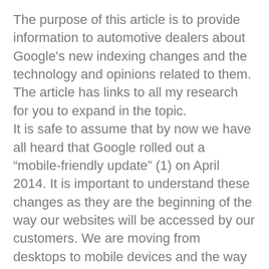The purpose of this article is to provide information to automotive dealers about Google's new indexing changes and the technology and opinions related to them. The article has links to all my research for you to expand in the topic. It is safe to assume that by now we have all heard that Google rolled out a “mobile-friendly update” (1) on April 2014. It is important to understand these changes as they are the beginning of the way our websites will be accessed by our customers. We are moving from desktops to mobile devices and the way Google will work for these is changing. The update will begin to change how Google ranks and indexes website content for mobile searches. This is an update to force website owners to improve their websites so they are mobile compatible. You can no longer ignore mobile traffic. Period. Google’s goal is to offer mobile friendly links on